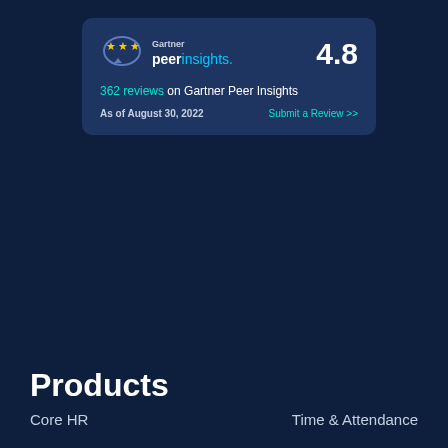[Figure (infographic): Gartner Peer Insights badge card showing rating 4.8 with 362 reviews as of August 30, 2022, with a Submit a Review link]
Products
Core HR   Time & Attendance